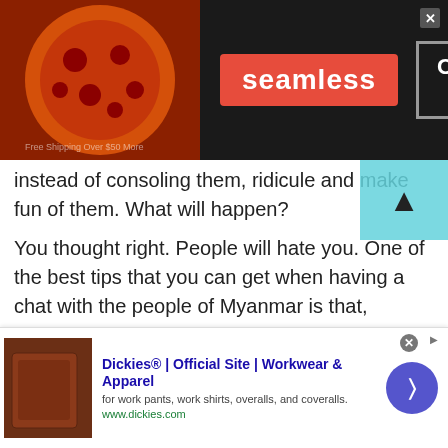[Figure (screenshot): Seamless food delivery advertisement banner with pizza image, red Seamless logo, and ORDER NOW button on dark background]
instead of consoling them, ridicule and make fun of them. What will happen?
You thought right. People will hate you. One of the best tips that you can get when having a chat with the people of Myanmar is that, always stay empathetic. It is the people's nature that they like those people who appreciate and help others. This act will make others think of you that you are such a great human being. Eventually this will lead you to attract more audience towards you.
[Figure (screenshot): Dickies Official Site advertisement for Workwear & Apparel - bottom banner ad with product image, title, description and www.dickies.com URL]